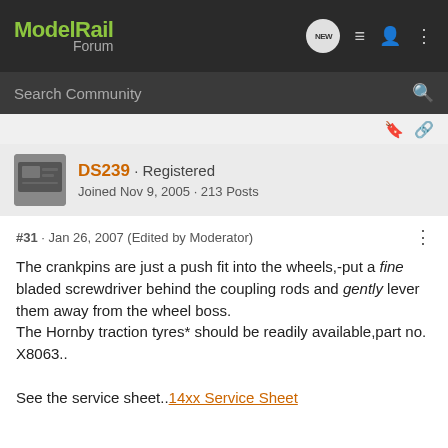ModelRail Forum
Search Community
DS239 · Registered
Joined Nov 9, 2005 · 213 Posts
#31 · Jan 26, 2007 (Edited by Moderator)
The crankpins are just a push fit into the wheels,-put a fine bladed screwdriver behind the coupling rods and gently lever them away from the wheel boss.
The Hornby traction tyres* should be readily available,part no. X8063..

See the service sheet..14xx Service Sheet